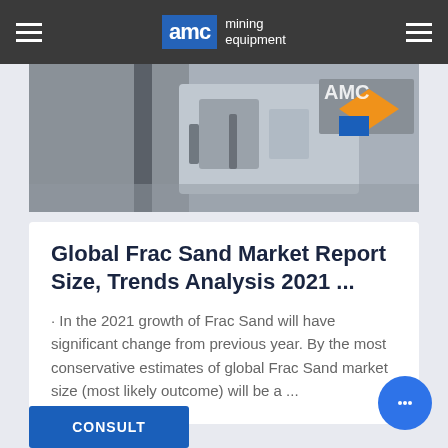AMC mining equipment
[Figure (photo): Close-up photo of mining equipment with AMC logo visible in orange and blue on the right side]
Global Frac Sand Market Report Size, Trends Analysis 2021 ...
· In the 2021 growth of Frac Sand will have significant change from previous year. By the most conservative estimates of global Frac Sand market size (most likely outcome) will be a ...